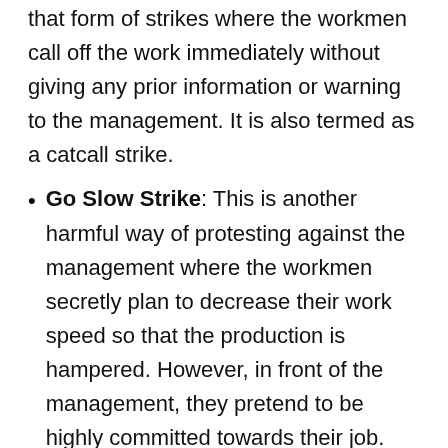that form of strikes where the workmen call off the work immediately without giving any prior information or warning to the management. It is also termed as a catcall strike.
Go Slow Strike: This is another harmful way of protesting against the management where the workmen secretly plan to decrease their work speed so that the production is hampered. However, in front of the management, they pretend to be highly committed towards their job.
Work to Rule: In this type of strike, the employees strictly follow their job rules